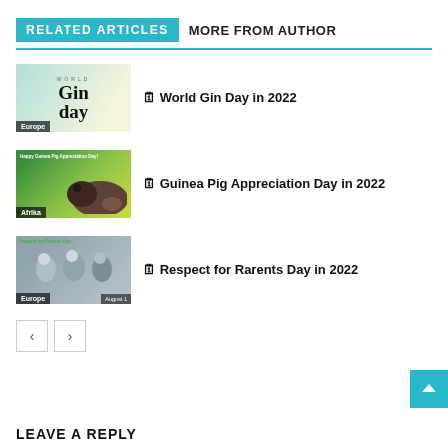RELATED ARTICLES  MORE FROM AUTHOR
[Figure (photo): Thumbnail image for World Gin Day article, showing gin day graphic with leaves. Label: Europe]
🗓 World Gin Day in 2022
[Figure (photo): Thumbnail image for Guinea Pig Appreciation Day article, showing a guinea pig on grass. Label: Afrika]
🗓 Guinea Pig Appreciation Day in 2022
[Figure (photo): Thumbnail image for Respect for Parents Day article, showing a group of older adults. Label: Europe, August 1]
🗓 Respect for Rarents Day in 2022
< >
LEAVE A REPLY